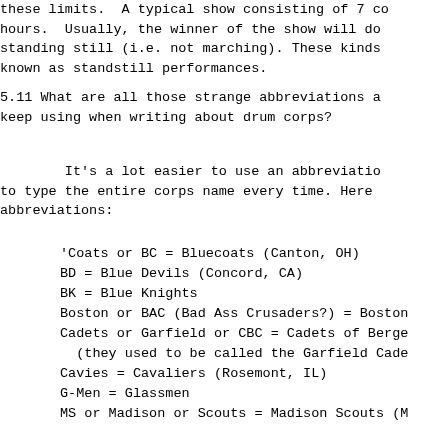these limits. A typical show consisting of 7 co hours.  Usually, the winner of the show will do standing still (i.e. not marching). These kinds known as standstill performances.
5.11 What are all those strange abbreviations a keep using when writing about drum corps?
It's a lot easier to use an abbreviatio to type the entire corps name every time. Here abbreviations:
'Coats or BC = Bluecoats (Canton, OH)
BD = Blue Devils (Concord, CA)
BK = Blue Knights
Boston or BAC (Bad Ass Crusaders?) = Boston
Cadets or Garfield or CBC = Cadets of Berge
(they used to be called the Garfield Cade
Cavies = Cavaliers (Rosemont, IL)
G-Men = Glassmen
MS or Madison or Scouts = Madison Scouts (M